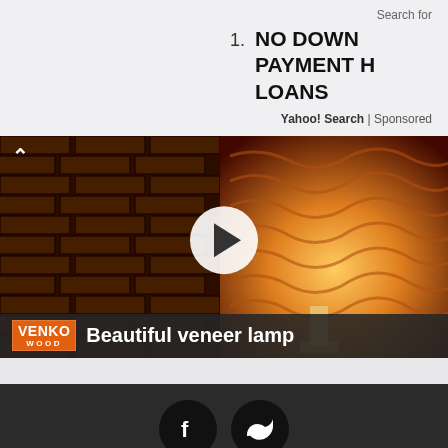Search for
1. NO DOWN PAYMENT HOME LOANS
Yahoo! Search | Sponsored
[Figure (screenshot): Video thumbnail showing a veneer lamp with VENKO WOOD branding, play button in center, brick wall on left, glowing lamp on right. Caption bar reads 'Beautiful veneer lamp']
Copyright © Top Best Alternatives  About  Contact  Privacy Policy